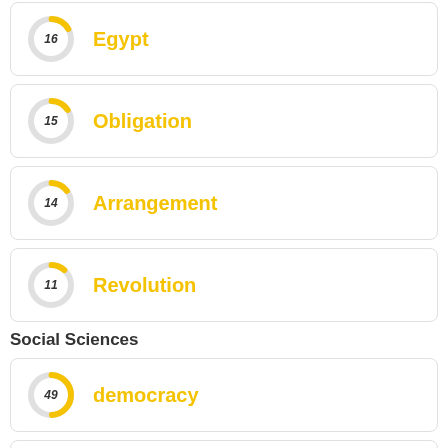[Figure (donut-chart): Egypt]
[Figure (donut-chart): Obligation]
[Figure (donut-chart): Arrangement]
[Figure (donut-chart): Revolution]
Social Sciences
[Figure (donut-chart): democracy]
[Figure (donut-chart): politics]